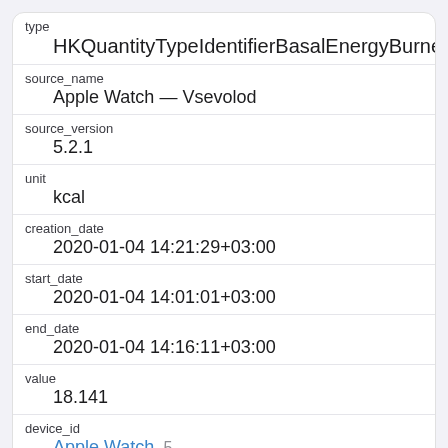| type | HKQuantityTypeIdentifierBasalEnergyBurned |
| source_name | Apple Watch — Vsevolod |
| source_version | 5.2.1 |
| unit | kcal |
| creation_date | 2020-01-04 14:21:29+03:00 |
| start_date | 2020-01-04 14:01:01+03:00 |
| end_date | 2020-01-04 14:16:11+03:00 |
| value | 18.141 |
| device_id | Apple Watch 5 |
| id | 324680 |